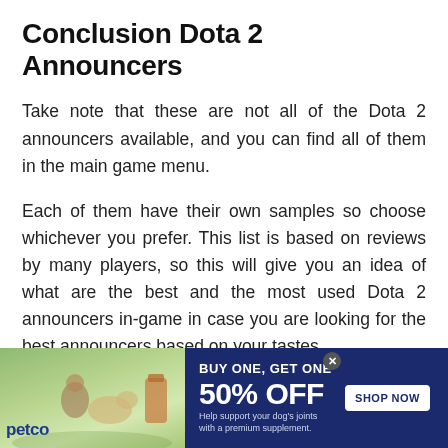Conclusion Dota 2 Announcers
Take note that these are not all of the Dota 2 announcers available, and you can find all of them in the main game menu.
Each of them have their own samples so choose whichever you prefer. This list is based on reviews by many players, so this will give you an idea of what are the best and the most used Dota 2 announcers in-game in case you are looking for the best announcers based on your tastes.
[Figure (infographic): Petco advertisement banner: BUY ONE, GET ONE 50% OFF — Help support your dog's joints with a premium supplement. SHOP NOW button. Image of woman with golden retriever and supplement product.]